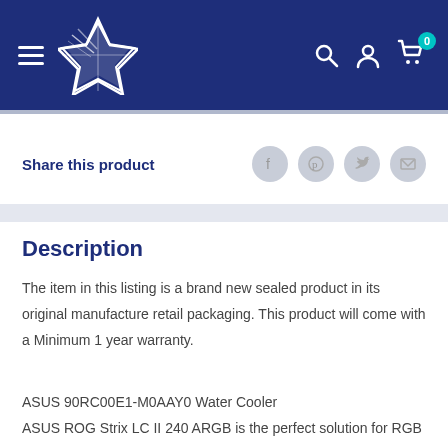Navigation header with logo, hamburger menu, search, account, and cart icons
Share this product
Description
The item in this listing is a brand new sealed product in its original manufacture retail packaging. This product will come with a Minimum 1 year warranty.
ASUS 90RC00E1-M0AAY0 Water Cooler
ASUS ROG Strix LC II 240 ARGB is the perfect solution for RGB enthusiasts and delivers high-performance CPU liquid cooling